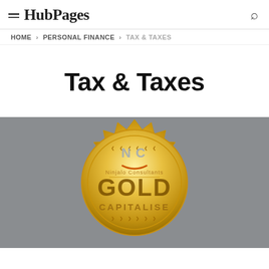HubPages
HOME > PERSONAL FINANCE > TAX & TAXES
Tax & Taxes
[Figure (logo): Gold seal/badge image with 'NC' logo for Ninjalo Consultants, text reading GOLD CAPITALISE on a grey background]